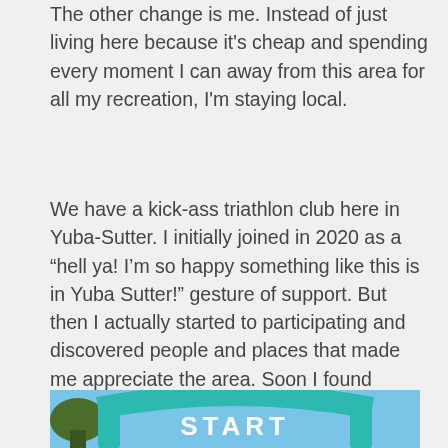The other change is me. Instead of just living here because it's cheap and spending every moment I can away from this area for all my recreation, I'm staying local.
We have a kick-ass triathlon club here in Yuba-Sutter. I initially joined in 2020 as a “hell ya! I’m so happy something like this is in Yuba Sutter!” gesture of support. But then I actually started to participating and discovered people and places that made me appreciate the area. Soon I found myself grateful for being able to live here. There is an absolutely incredible biking community and tons of open water swimming opportunities here. It’s impossible to run errands in town without bumping into at least one other member of the club.
[Figure (photo): Photo of an inflatable START arch at a race/triathlon event, with green/teal coloring and white START text, blue sky and trees visible in background.]